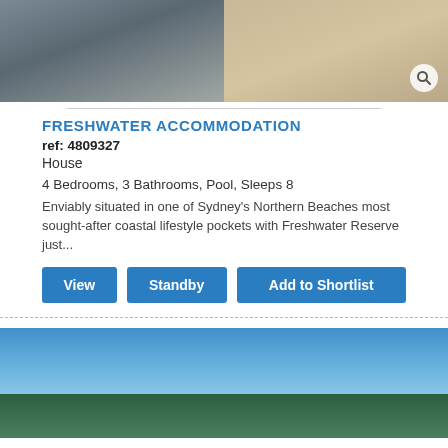[Figure (photo): Interior photo of a modern living area with sofa and wooden flooring/rug]
FRESHWATER ACCOMMODATION
ref: 4809327
House
4 Bedrooms, 3 Bathrooms, Pool, Sleeps 8
Enviably situated in one of Sydney's Northern Beaches most sought-after coastal lifestyle pockets with Freshwater Reserve just...
View
Standby
Add to Shortlist
[Figure (photo): Coastal view photo showing blue sky, ocean and green headland from an elevated position]